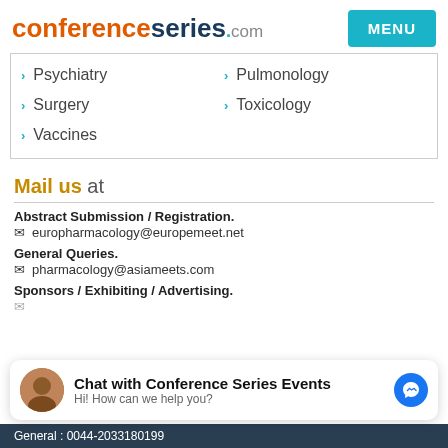conferenceseries.com
Psychiatry
Pulmonology
Surgery
Toxicology
Vaccines
Mail us at
Abstract Submission / Registration.
europharmacology@europemeet.net
General Queries.
pharmacology@asiameets.com
Sponsors / Exhibiting / Advertising.
[Figure (screenshot): Chat widget: Chat with Conference Series Events - Hi! How can we help you?]
General : 0044-2033180199